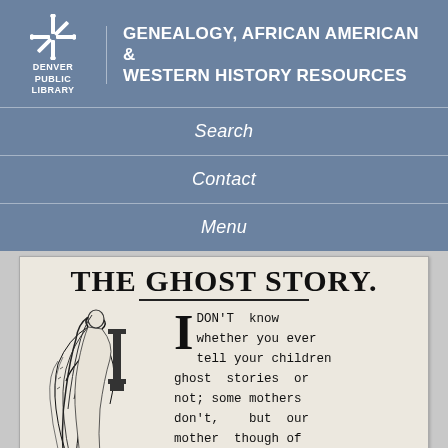DENVER PUBLIC LIBRARY — GENEALOGY, AFRICAN AMERICAN & WESTERN HISTORY RESOURCES
Search
Contact
Menu
[Figure (illustration): Newspaper clipping showing 'THE GHOST STORY.' as headline with a black-and-white illustration of a ghost figure and the beginning of a story text: 'DON'T know whether you ever tell your children ghost stories or not; some mothers don't, but our mother though of']